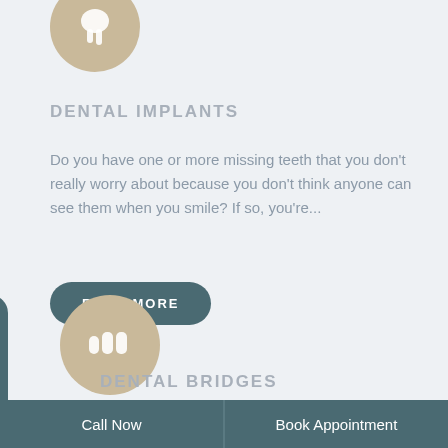[Figure (illustration): Circular beige/tan icon with a tooth silhouette in white, positioned at top of card]
DENTAL IMPLANTS
Do you have one or more missing teeth that you don't really worry about because you don't think anyone can see them when you smile? If so, you're...
[Figure (illustration): READ MORE button - dark teal rounded rectangle button with white bold uppercase text]
[Figure (illustration): Circular beige/tan icon with multiple teeth silhouette in white]
DENTAL BRIDGES
he term "dental bridges" may sound like a traffic...
Call Now   Book Appointment